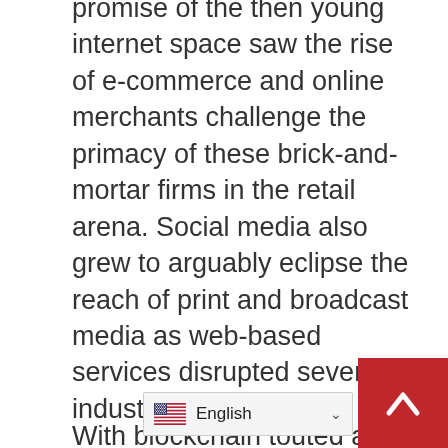promise of the then young internet space saw the rise of e-commerce and online merchants challenge the primacy of these brick-and-mortar firms in the retail arena. Social media also grew to arguably eclipse the reach of print and broadcast media as web-based services disrupted several industries.
With blockchain touted as having similar global business process disruption capabilities, several notable participants in the mainstream arena appear keen to interact with the emerging technology. This appetite for backing players in the novel arena appears even more apparent among VC firms with Dong telling Cointelegraph: “It’s an opportunity of a generation that VCs can hardly miss.”
The token economy assoc...